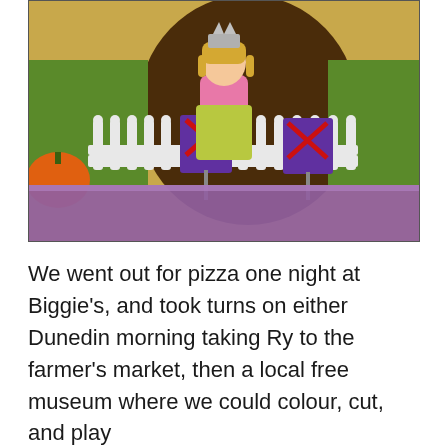[Figure (photo): A young girl wearing a crown/hat stands inside a white picket fence in front of a large chocolate Easter egg display at what appears to be a museum or shopping centre. She is wearing a pink cardigan over a floral dress. Two purple Cadbury signs with red X marks are visible in the foreground. A purple table/bench is in the very foreground.]
We went out for pizza one night at Biggie's, and took turns on either Dunedin morning taking Ry to the farmer's market, then a local free museum where we could colour, cut, and play